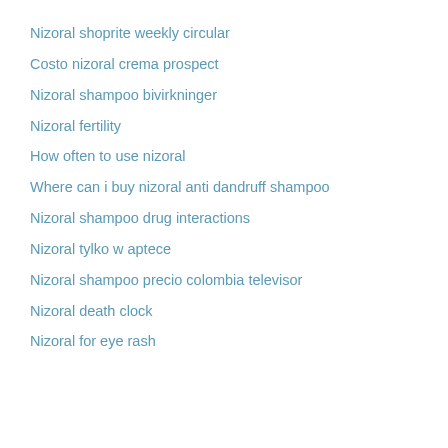Nizoral shoprite weekly circular
Costo nizoral crema prospect
Nizoral shampoo bivirkninger
Nizoral fertility
How often to use nizoral
Where can i buy nizoral anti dandruff shampoo
Nizoral shampoo drug interactions
Nizoral tylko w aptece
Nizoral shampoo precio colombia televisor
Nizoral death clock
Nizoral for eye rash